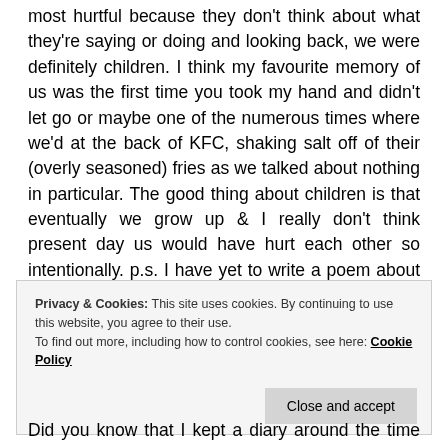most hurtful because they don't think about what they're saying or doing and looking back, we were definitely children. I think my favourite memory of us was the first time you took my hand and didn't let go or maybe one of the numerous times where we'd at the back of KFC, shaking salt off of their (overly seasoned) fries as we talked about nothing in particular. The good thing about children is that eventually we grow up & I really don't think present day us would have hurt each other so intentionally. p.s. I have yet to write a poem about you and I probably never will, no particular reason why.
Privacy & Cookies: This site uses cookies. By continuing to use this website, you agree to their use. To find out more, including how to control cookies, see here: Cookie Policy
Did you know that I kept a diary around the time that we